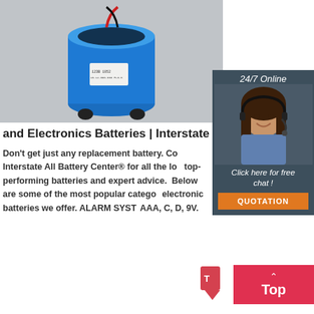[Figure (photo): Blue cylindrical battery/capacitor with label and red wire on top, photographed on grey background]
[Figure (photo): 24/7 Online chat widget with woman wearing headset, 'Click here for free chat!' text and orange QUOTATION button]
and Electronics Batteries | Interstate A
Don't get just any replacement battery. Come to Interstate All Battery Center® for all the local top-performing batteries and expert advice. Below are some of the most popular categories of electronic batteries we offer. ALARM SYST... AAA, C, D, 9V.
[Figure (other): Back to top button (red) with upward arrow and 'Top' label, with small icon to the left]